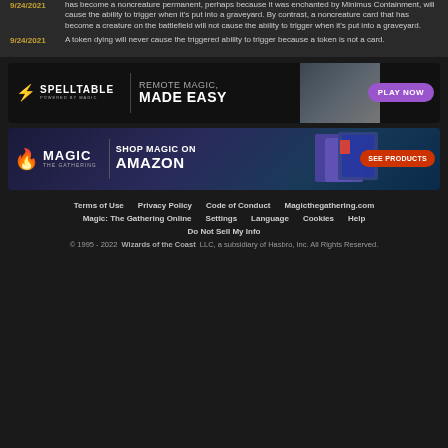9/24/2021 — has become a noncreature permanent, perhaps because it was enchanted by Minimus Containment, will cause the ability to trigger when it's put into a graveyard. By contrast, a noncreature card that has become a creature on the battlefield will not cause the ability to trigger when it's put into a graveyard.
9/24/2021 — A token dying will never cause the triggered ability to trigger because a token is not a card.
[Figure (infographic): Spelltable ad banner: REMOTE MAGIC, MADE EASY — PLAY NOW button]
[Figure (infographic): Magic: The Gathering Amazon ad banner: SHOP MAGIC ON AMAZON — SEE PRODUCTS button]
Terms of Use | Privacy Policy | Code of Conduct | Magicthegathering.com | Magic: The Gathering Online | Settings | Language | Cookies | Help | Do Not Sell My Info
© 1995 - 2022  Wizards of the Coast  LLC, a subsidiary of Hasbro, Inc. All Rights Reserved.